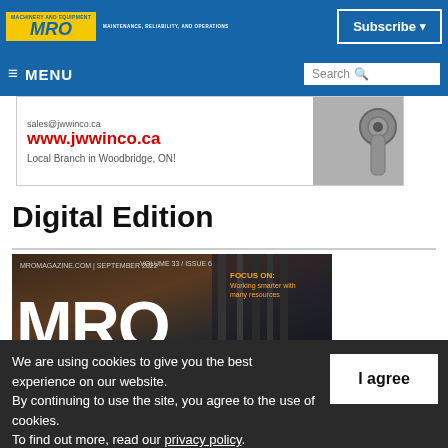MRO MACHINERY AND EQUIPMENT — MAINTENANCE, RELIABILITY, AND OPERATIONS | Subscribe
≡ MENU | Search
[Figure (other): Advertisement banner for jwwinco.ca showing sales@jwwinco.ca, www.jwwinco.ca, Local Branch in Woodbridge, ON! with a mechanical hardware image on the right]
Digital Edition
[Figure (other): MRO magazine cover thumbnail — September issue, dark background with large MRO text, FOCUS ON label in orange, volume information]
We are using cookies to give you the best experience on our website.
By continuing to use the site, you agree to the use of cookies.
To find out more, read our privacy policy.